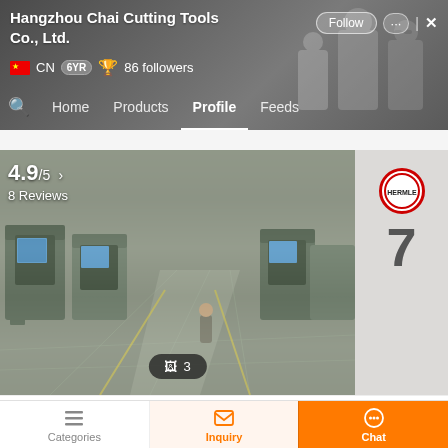Hangzhou Chai Cutting Tools Co., Ltd.
CN  6YR  86 followers
Home  Products  Profile  Feeds
[Figure (photo): Factory floor with CNC machines and workers, rating overlay showing 4.9/5 and 8 Reviews, photo count badge showing 3]
[Figure (photo): Partial view of HERMLE machine showing logo circle and number 7]
4.9/5 › 8 Reviews
📷 3
Call us ›
Chai Cutting Tools Co., Ltd.
Categories
Inquiry
Chat